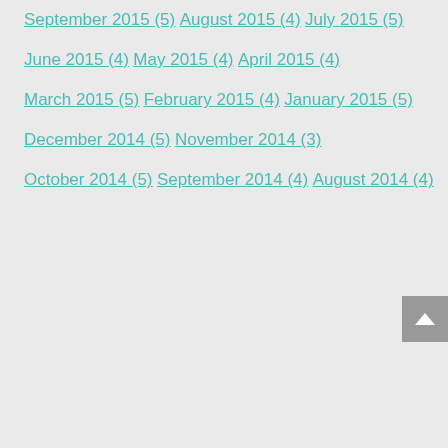September 2015 (5)
August 2015 (4)
July 2015 (5)
June 2015 (4)
May 2015 (4)
April 2015 (4)
March 2015 (5)
February 2015 (4)
January 2015 (5)
December 2014 (5)
November 2014 (3)
October 2014 (5)
September 2014 (4)
August 2014 (4)